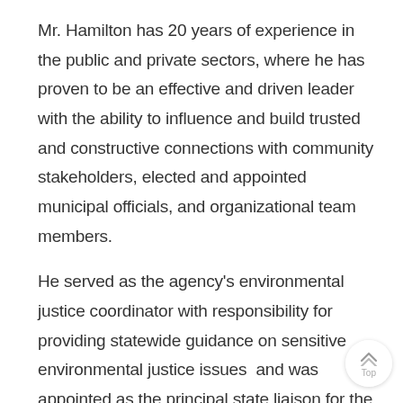Mr. Hamilton has 20 years of experience in the public and private sectors, where he has proven to be an effective and driven leader with the ability to influence and build trusted and constructive connections with community stakeholders, elected and appointed municipal officials, and organizational team members.
He served as the agency's environmental justice coordinator with responsibility for providing statewide guidance on sensitive environmental justice issues and was appointed as the principal state liaison for the U.S. Environmental Protection Agency's Office of Environmental Justice.
Shawn had provided effective leadership, incident command, and focused recovery during multiple large-scale